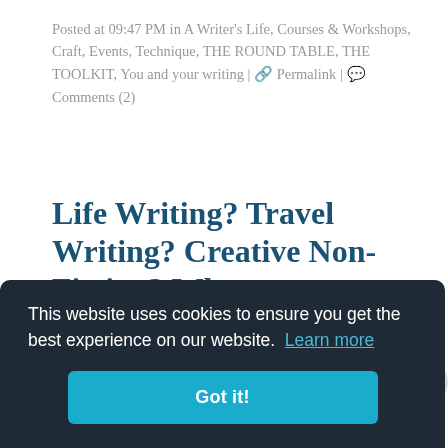Posted at 09:47 PM in A Writer's Life, Courses & Workshops, Craft, Events, Technique, THE ROUND TABLE, THE TOOLKIT, You and your writing | 🔗 Permalink | 💬 Comments (2)
Life Writing? Travel Writing? Creative Non-Fiction? What are you writing?
...a ...n- ...s a very good question and like all the best
[Figure (screenshot): Cookie consent banner overlay with dark background reading 'This website uses cookies to ensure you get the best experience on our website. Learn more' and a teal 'Got it!' button.]